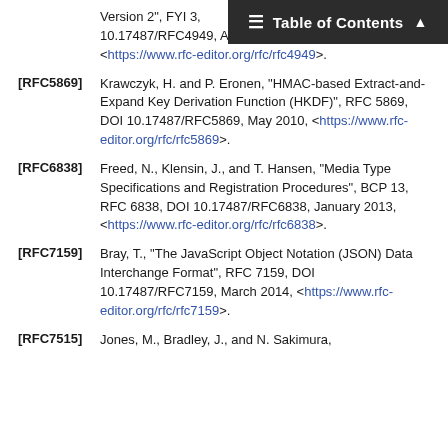[RFC4949] ... Version 2", FYI 3, 10.17487/RFC4949, August 2007, <https://www.rfc-editor.org/rfc/rfc4949>.
[RFC5869] Krawczyk, H. and P. Eronen, "HMAC-based Extract-and-Expand Key Derivation Function (HKDF)", RFC 5869, DOI 10.17487/RFC5869, May 2010, <https://www.rfc-editor.org/rfc/rfc5869>.
[RFC6838] Freed, N., Klensin, J., and T. Hansen, "Media Type Specifications and Registration Procedures", BCP 13, RFC 6838, DOI 10.17487/RFC6838, January 2013, <https://www.rfc-editor.org/rfc/rfc6838>.
[RFC7159] Bray, T., "The JavaScript Object Notation (JSON) Data Interchange Format", RFC 7159, DOI 10.17487/RFC7159, March 2014, <https://www.rfc-editor.org/rfc/rfc7159>.
[RFC7515] Jones, M., Bradley, J., and N. Sakimura,